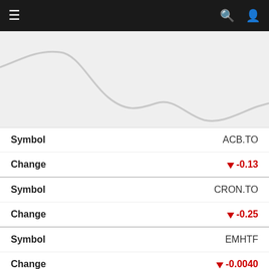[Figure (screenshot): Mobile app navigation bar with hamburger menu icon on left and search/user icons on right, dark background]
[Figure (continuous-plot): Partial line chart showing a downward trending gray curve on light gray background, clipped at top]
| Field | Value |
| --- | --- |
| Symbol | ACB.TO |
| Change | ↓ -0.13 |
| Symbol | CRON.TO |
| Change | ↓ -0.25 |
| Symbol | EMHTF |
| Change | ↓ -0.0040 |
| Symbol | GABY.CN |